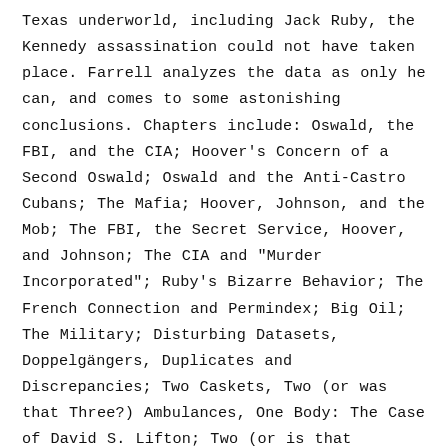Texas underworld, including Jack Ruby, the Kennedy assassination could not have taken place. Farrell analyzes the data as only he can, and comes to some astonishing conclusions. Chapters include: Oswald, the FBI, and the CIA; Hoover's Concern of a Second Oswald; Oswald and the Anti-Castro Cubans; The Mafia; Hoover, Johnson, and the Mob; The FBI, the Secret Service, Hoover, and Johnson; The CIA and "Murder Incorporated"; Ruby's Bizarre Behavior; The French Connection and Permindex; Big Oil; The Military; Disturbing Datasets, Doppelgängers, Duplicates and Discrepancies; Two Caskets, Two (or was that Three?) Ambulances, One Body: The Case of David S. Lifton; Two (or is that Three?) Faces of Oswald; Too Many (or Was That Too Few?) Bullets; Too Many Films, with Too Many, or Too Few, Frames; The Dead Witnesses: Jack Zangretti, Maurice Brooks Gatlin, John Garret "Gary" Underhill, Guy F. Bannister, Jr., Mary Pinchot Meyer, Rose Cheramie, Dorothy Mae Killgallen, Congressman Hale Boggs; The Alchemy of the Assassination: Ritual Magic and Murder, Masonic